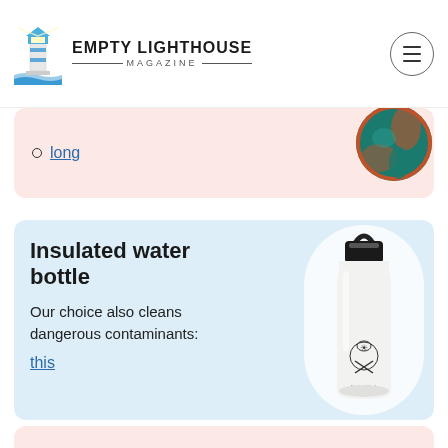EMPTY LIGHTHOUSE MAGAZINE
long
[Figure (photo): Partial circular image with teal and rust/orange textile pattern]
Insulated water bottle
Our choice also cleans dangerous contaminants:
this
[Figure (photo): White Hydro Flask insulated water bottle with black lid and loop handle on light blue background]